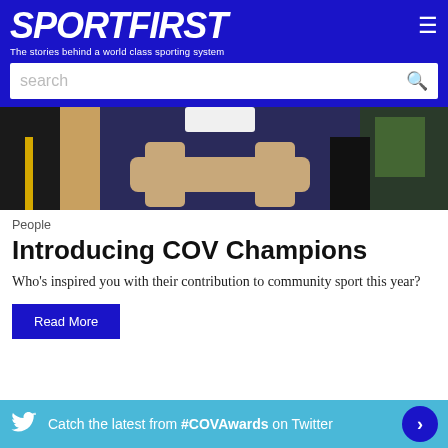SPORTFIRST — The stories behind a world class sporting system
[Figure (photo): Person wearing a dark navy/blue polo shirt with arms crossed, standing in what appears to be an indoor sports venue. Other people and equipment visible in the background.]
People
Introducing COV Champions
Who's inspired you with their contribution to community sport this year?
Read More
Catch the latest from #COVAwards on Twitter